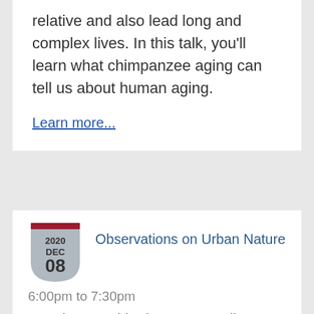relative and also lead long and complex lives. In this talk, you’ll learn what chimpanzee aging can tell us about human aging.
Learn more...
Observations on Urban Nature
6:00pm to 7:30pm
Location: Arnold Arboretum—Online
Peter Del Tredici, Senior Research Scientist Emeritus at the Arnold